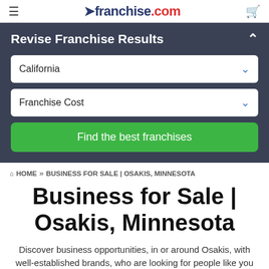franchise.com
Revise Franchise Results
California
Franchise Cost
Find the best franchises
HOME » BUSINESS FOR SALE | OSAKIS, MINNESOTA
Business for Sale | Osakis, Minnesota
Discover business opportunities, in or around Osakis, with well-established brands, who are looking for people like you